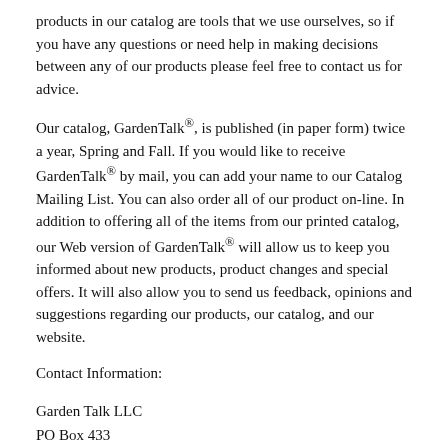products in our catalog are tools that we use ourselves, so if you have any questions or need help in making decisions between any of our products please feel free to contact us for advice.
Our catalog, GardenTalk®, is published (in paper form) twice a year, Spring and Fall. If you would like to receive GardenTalk® by mail, you can add your name to our Catalog Mailing List. You can also order all of our product on-line. In addition to offering all of the items from our printed catalog, our Web version of GardenTalk® will allow us to keep you informed about new products, product changes and special offers. It will also allow you to send us feedback, opinions and suggestions regarding our products, our catalog, and our website.
Contact Information:
Garden Talk LLC
PO Box 433
Topsfield MA 01983
Phone: (978) 887-3388
eMail: CustomerService@GardenTalk.com